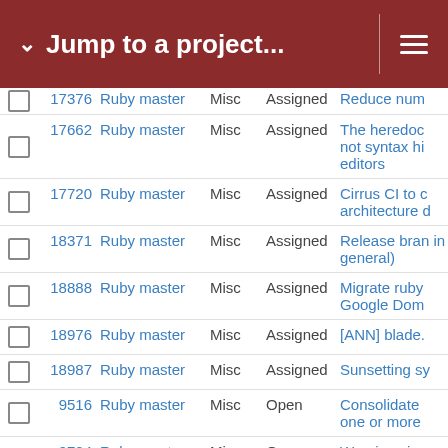Jump to a project...
|  | ID | Project | Category | Status | Description |
| --- | --- | --- | --- | --- | --- |
|  | 17376 | Ruby master | Misc | Assigned | Reduce num |
|  | 17662 | Ruby master | Misc | Assigned | The heredoc not syntax hi editors |
|  | 17720 | Ruby master | Misc | Assigned | Cirrus CI to c architecture d |
|  | 18371 | Ruby master | Misc | Assigned | Release bran in general) |
|  | 18888 | Ruby master | Misc | Assigned | Migrate ruby Google Dom |
|  | 18976 | Ruby master | Misc | Assigned | [ANN] blade. |
|  | 18987 | Ruby master | Misc | Assigned | Sunsetting sy |
|  | 9516 | Ruby master | Misc | Open | Consolidate one or more |
|  | 9724 | Ruby master | Misc | Open | Warnings in directives to |
|  | 9832 | Ruby master | Misc | Open | better concu |
|  | 10312 | Ruby master | Misc | Open | Give people ruby parser s |